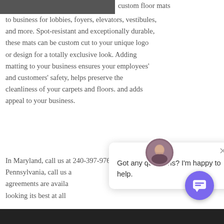[Figure (photo): Dark image/photo at top left corner, partially visible]
custom floor mats to business for lobbies, foyers, elevators, vestibules, and more. Spot-resistant and exceptionally durable, these mats can be custom cut to your unique logo or design for a totally exclusive look. Adding matting to your business ensures your employees' and customers' safety, helps preserve the cleanliness of your carpets and floors. and adds appeal to your business.
In Maryland, call us at 240-397-9766, and in Pennsylvania, call us a... agreements are availa... looking its best at all...
[Figure (screenshot): Chat popup overlay with avatar photo of a woman, close X button, and text 'Got any questions? I'm happy to help.']
[Figure (other): Purple circular chat button with speech bubble icon at bottom right]